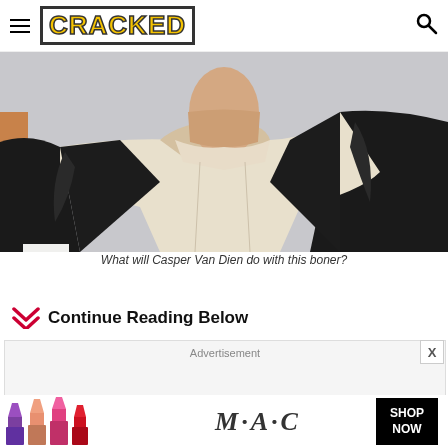CRACKED
[Figure (photo): Close-up photo of a person wearing a black leather jacket over a cream/beige collared shirt, cropped to show torso and lower face/neck area]
What will Casper Van Dien do with this boner?
Continue Reading Below
Advertisement